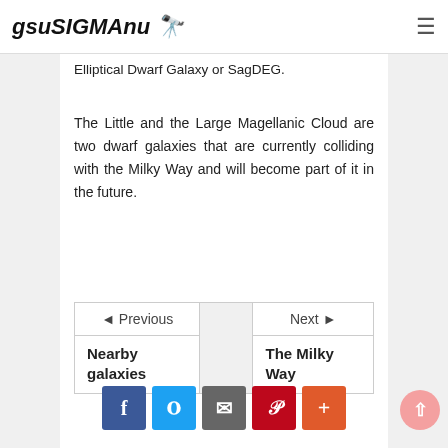gsuSIGMAnu 🔭
Elliptical Dwarf Galaxy or SagDEG.
The Little and the Large Magellanic Cloud are two dwarf galaxies that are currently colliding with the Milky Way and will become part of it in the future.
| ◄ Previous |  | Next ► |
| Nearby galaxies |  | The Milky Way |